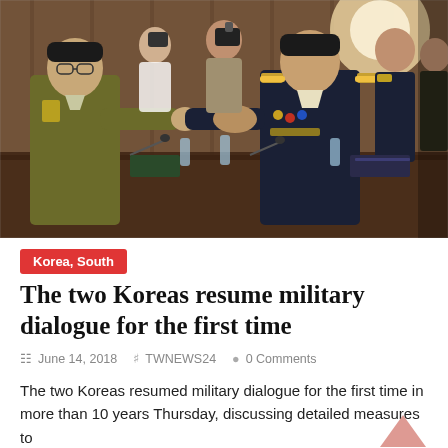[Figure (photo): Two military officials in uniform shaking hands across a conference table. The man on the left wears an olive/brown North Korean military uniform, the man on the right wears a dark South Korean military uniform with medals and insignia. Several photographers and officials are visible in the background in a wood-paneled meeting room. Water bottles and microphones are on the conference table.]
Korea, South
The two Koreas resume military dialogue for the first time
June 14, 2018   TWNEWS24   0 Comments
The two Koreas resumed military dialogue for the first time in more than 10 years Thursday, discussing detailed measures to